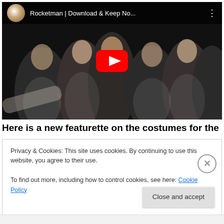[Figure (screenshot): YouTube video embed showing Rocketman | Download & Keep No... with a play button overlay. Shows group of people in white clothing against a dark background. YouTube top bar with channel logo, title, and three-dot menu.]
Here is a new featurette on the costumes for the upcoming
Privacy & Cookies: This site uses cookies. By continuing to use this website, you agree to their use.
To find out more, including how to control cookies, see here: Cookie Policy
Close and accept